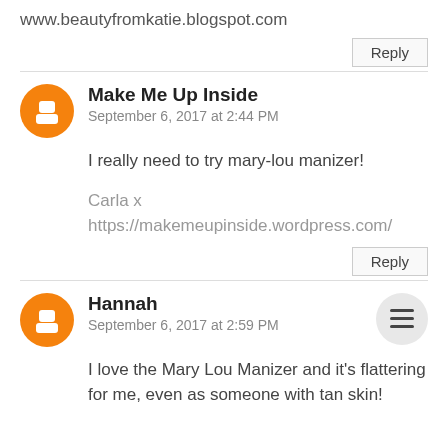www.beautyfromkatie.blogspot.com
Reply
Make Me Up Inside
September 6, 2017 at 2:44 PM
I really need to try mary-lou manizer!
Carla x
https://makemeupinside.wordpress.com/
Reply
Hannah
September 6, 2017 at 2:59 PM
I love the Mary Lou Manizer and it's flattering for me, even as someone with tan skin!